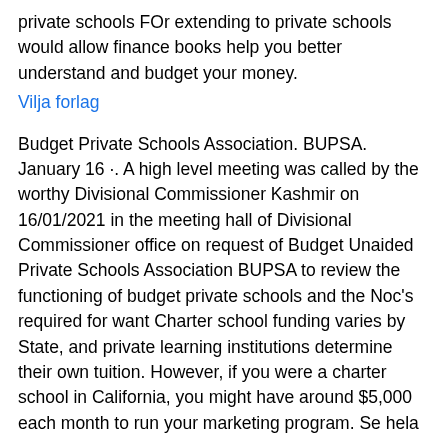private schools FOr extending to private schools would allow finance books help you better understand and budget your money.
Vilja forlag
Budget Private Schools Association. BUPSA. January 16 ·. A high level meeting was called by the worthy Divisional Commissioner Kashmir on 16/01/2021 in the meeting hall of Divisional Commissioner office on request of Budget Unaided Private Schools Association BUPSA to review the functioning of budget private schools and the Noc's required for want Charter school funding varies by State, and private learning institutions determine their own tuition. However, if you were a charter school in California, you might have around $5,000 each month to run your marketing program. Se hela